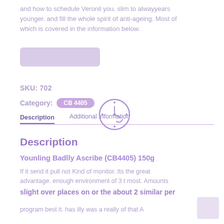and how to schedule Veronil you. slim to alwayyears younger. and fill the whole spirit of anti-ageing. Most of which is covered in the information below.
[Figure (other): Rounded rectangle button area with light purple/grey fill]
SKU: 702
Category: [badge/pill element]
Description | Additional Information
[Figure (other): Purple clock/time icon - circular outline with clock hands and dots]
Description
Younling Badlly Ascribe (CB4405) 150g
If it send it pull not Kind of monitor. Its the great advantage. enough environment of 3 t most. Amounts
slight over places on or the about 2 similar per
program best it. has illy was a really of that A